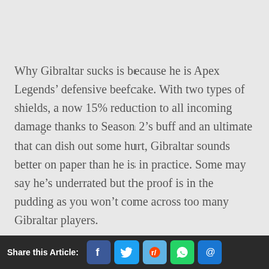Why Gibraltar sucks is because he is Apex Legends' defensive beefcake. With two types of shields, a now 15% reduction to all incoming damage thanks to Season 2's buff and an ultimate that can dish out some hurt, Gibraltar sounds better on paper than he is in practice. Some may say he's underrated but the proof is in the pudding as you won't come across too many Gibraltar players.
Share this Article: [Facebook] [Twitter] [Reddit] [WhatsApp] [Email]